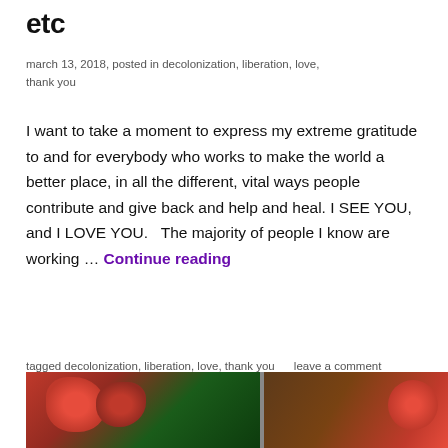etc
march 13, 2018, posted in decolonization, liberation, love, thank you
I want to take a moment to express my extreme gratitude to and for everybody who works to make the world a better place, in all the different, vital ways people contribute and give back and help and heal. I SEE YOU, and I LOVE YOU.   The majority of people I know are working … Continue reading
tagged decolonization, liberation, love, thank you     leave a comment
[Figure (photo): Outdoor photo showing flowers (red/pink blooms) on the left and a wooden structure on the right, with green foliage in the background.]